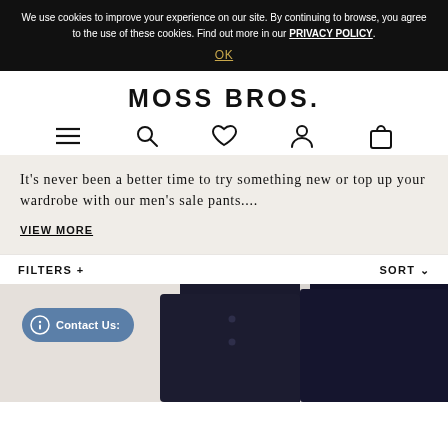We use cookies to improve your experience on our site. By continuing to browse, you agree to the use of these cookies. Find out more in our PRIVACY POLICY.
OK
MOSS BROS.
[Figure (infographic): Navigation icons: hamburger menu, search magnifying glass, heart/wishlist, user/account, shopping bag]
It’s never been a better time to try something new or top up your wardrobe with our men’s sale pants....
VIEW MORE
FILTERS +
SORT ∨
[Figure (photo): Product photo showing men in navy suits/pants with a Contact Us chat bubble in the lower left]
Contact Us: